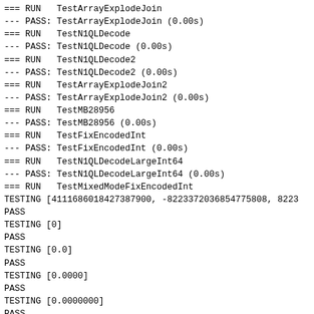=== RUN   TestArrayExplodeJoin
--- PASS: TestArrayExplodeJoin (0.00s)
=== RUN   TestN1QLDecode
--- PASS: TestN1QLDecode (0.00s)
=== RUN   TestN1QLDecode2
--- PASS: TestN1QLDecode2 (0.00s)
=== RUN   TestArrayExplodeJoin2
--- PASS: TestArrayExplodeJoin2 (0.00s)
=== RUN   TestMB28956
--- PASS: TestMB28956 (0.00s)
=== RUN   TestFixEncodedInt
--- PASS: TestFixEncodedInt (0.00s)
=== RUN   TestN1QLDecodeLargeInt64
--- PASS: TestN1QLDecodeLargeInt64 (0.00s)
=== RUN   TestMixedModeFixEncodedInt
TESTING [4111686018427387900, -8223372036854775808, 8223...
PASS
TESTING [0]
PASS
TESTING [0.0]
PASS
TESTING [0.0000]
PASS
TESTING [0.0000000]
PASS
TESTING [-0]
PASS
TESTING [-0.0]
PASS
TESTING [-0.0000]